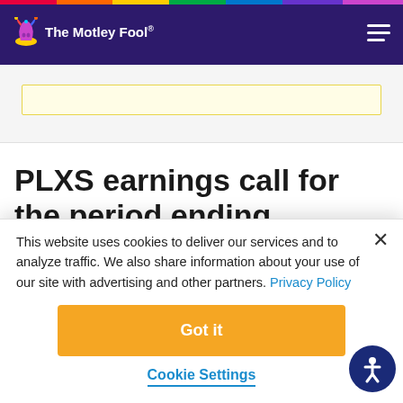The Motley Fool
[Figure (other): Yellow banner strip, partially visible content area]
PLXS earnings call for the period ending December 31
This website uses cookies to deliver our services and to analyze traffic. We also share information about your use of our site with advertising and other partners. Privacy Policy
Got it
Cookie Settings